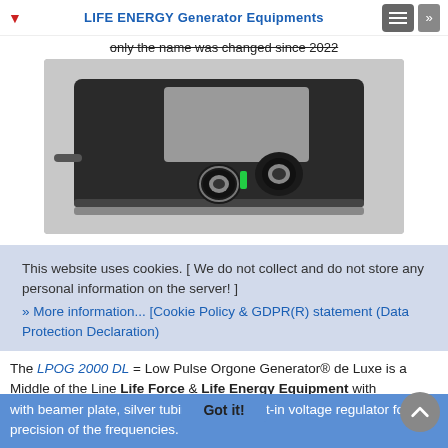LIFE ENERGY Generator Equipments
only the name was changed since 2022
[Figure (photo): Black electronic device with two knobs and a beamer plate — LPOG 2000 DL Life Energy Generator]
This website uses cookies. [ We do not collect and do not store any personal information on the server! ]
» More information... [Cookie Policy & GDPR(R) statement (Data Protection Declaration)
The LPOG 2000 DL = Low Pulse Orgone Generator® de Luxe is a Middle of the Line Life Force & Life Energy Equipment with integrated Vitality Generators; Chi Generator® & Prana Generator® & Orgone Generator®, with beamer plate, silver tubing output, built-in voltage regulator for precision of the frequencies.